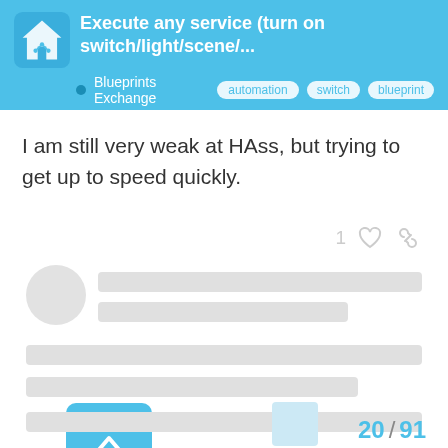Execute any service (turn on switch/light/scene/... | Blueprints Exchange | automation switch blueprint
I am still very weak at HAss, but trying to get up to speed quickly.
[Figure (screenshot): Loading skeleton placeholder with avatar circle and grey content lines]
[Figure (infographic): Blue scroll-to-top button with upward chevron arrow]
20 / 91